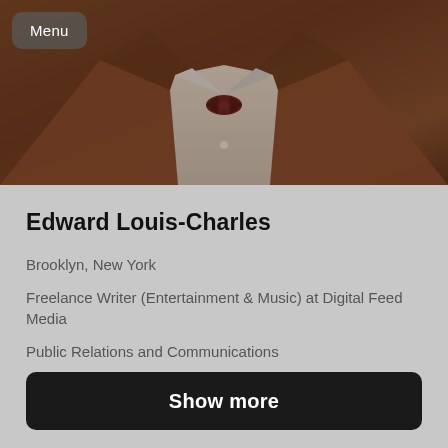[Figure (photo): Profile photo of a man wearing a brown/tan jacket and dark bow tie, shown from chest up against a brownish background. A 'Menu' button overlays the top-left corner.]
Edward Louis-Charles
Brooklyn, New York
Freelance Writer (Entertainment & Music) at Digital Feed Media
Public Relations and Communications
Show more